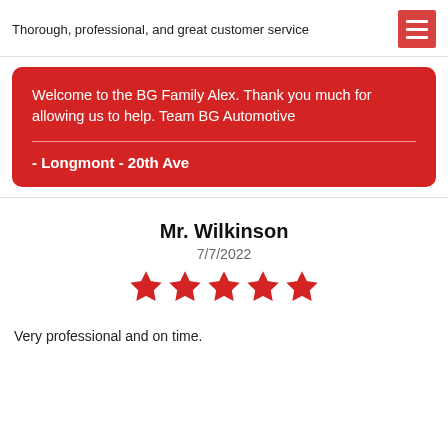Thorough, professional, and great customer service
[Figure (other): Hamburger menu icon — three white horizontal bars on a red square background]
Welcome to the BG Family Alex. Thank you much for allowing us to help. Team BG Automotive
- Longmont - 20th Ave
Mr. Wilkinson
7/7/2022
[Figure (other): Five red filled star rating icons]
Very professional and on time.